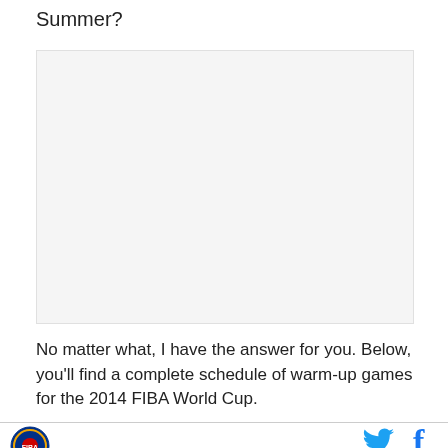Summer?
[Figure (other): Large image placeholder area with light gray background]
No matter what, I have the answer for you. Below, you'll find a complete schedule of warm-up games for the 2014 FIBA World Cup.
Logo and social media icons (Twitter, Facebook)